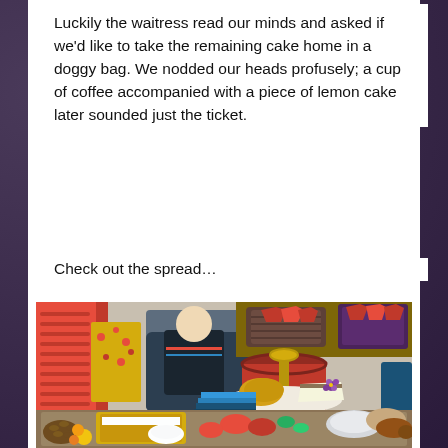Luckily the waitress read our minds and asked if we'd like to take the remaining cake home in a doggy bag. We nodded our heads profusely; a cup of coffee accompanied with a piece of lemon cake later sounded just the ticket.
Check out the spread…
[Figure (photo): A cafe scene showing a spread of afternoon tea food on a tiered stand, including scones, sandwiches, and various finger foods with vegetables. In the background, an elderly man sits in a dark leather armchair. Wicker baskets with red napkins are visible on a shelf behind. The foreground shows sandwiches and salad items on a board.]